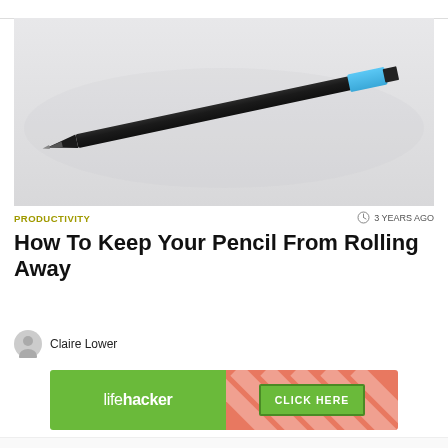[Figure (photo): A black pencil with a blue eraser cap lying diagonally on a light gray/white surface]
PRODUCTIVITY
3 YEARS AGO
How To Keep Your Pencil From Rolling Away
Claire Lower
[Figure (infographic): Lifehacker advertisement banner with green background showing 'lifehacker' logo on left and 'CLICK HERE' button on right with diagonal stripe pattern]